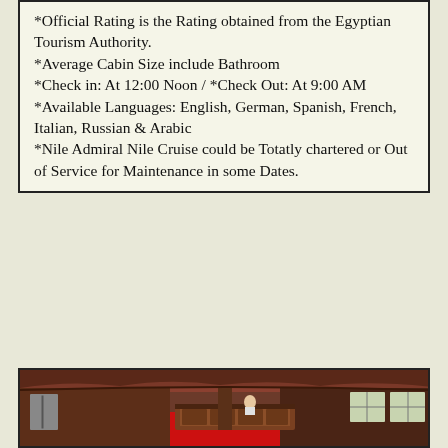*Official Rating is the Rating obtained from the Egyptian Tourism Authority.
*Average Cabin Size include Bathroom
*Check in: At 12:00 Noon / *Check Out: At 9:00 AM
*Available Languages: English, German, Spanish, French, Italian, Russian & Arabic
*Nile Admiral Nile Cruise could be Totatly chartered or Out of Service for Maintenance in some Dates.
[Figure (photo): Interior of a Nile cruise ship showing a reception/lobby area with a wooden front desk, red carpet floor, wooden paneled ceiling with decorative trim, a central wooden pillar, and bright windows on the right side.]